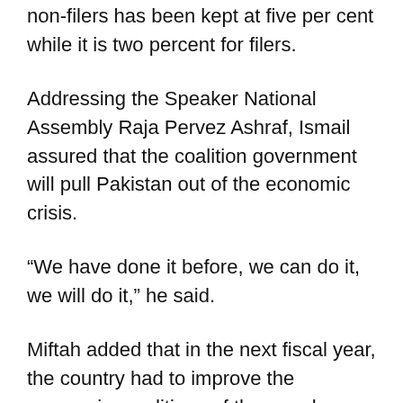non-filers has been kept at five per cent while it is two percent for filers.
Addressing the Speaker National Assembly Raja Pervez Ashraf, Ismail assured that the coalition government will pull Pakistan out of the economic crisis.
“We have done it before, we can do it, we will do it,” he said.
Miftah added that in the next fiscal year, the country had to improve the economic conditions of the poor by providing them with facilities.
“When the income of the poor people increases, they purchase consumer goods which are produced locally. And this, in turn, reduces the exports and